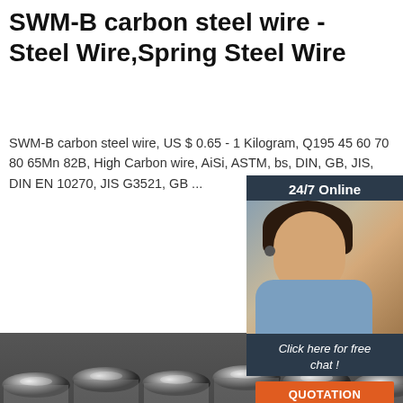SWM-B carbon steel wire - Steel Wire,Spring Steel Wire
SWM-B carbon steel wire, US $ 0.65 - 1 Kilogram, Q195 45 60 70 80 65Mn 82B, High Carbon wire, AiSi, ASTM, bs, DIN, GB, JIS, DIN EN 10270, JIS G3521, GB ...
[Figure (screenshot): Green 'Get Price' button]
[Figure (infographic): 24/7 Online chat widget with woman wearing headset, 'Click here for free chat!' text, and orange QUOTATION button]
[Figure (photo): Close-up photo of multiple carbon steel wire rods arranged in parallel, showing shiny circular cross-sections. Orange TOP watermark in bottom right.]